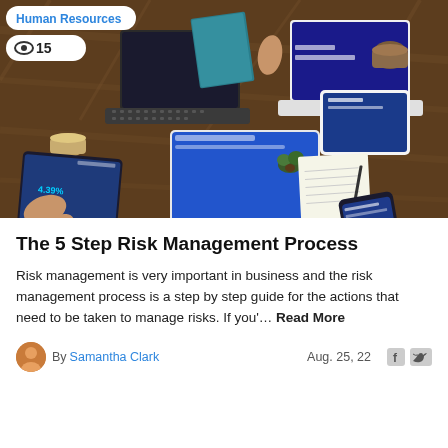[Figure (photo): Overhead aerial view of people sitting around a wooden table with laptops, tablets, and notebooks, collaborating in a business meeting. White pill-shaped overlays show 'Human Resources' category tag and eye/view count badge showing 15.]
The 5 Step Risk Management Process
Risk management is very important in business and the risk management process is a step by step guide for the actions that need to be taken to manage risks. If you'… Read More
By Samantha Clark   Aug. 25, 22